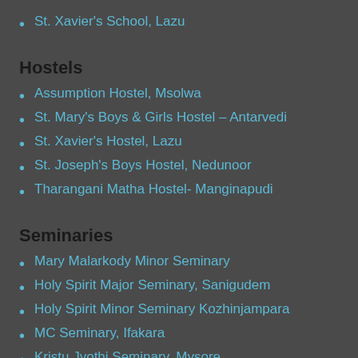St. Xavier's School, Lazu
Hostels
Assumption Hostel, Msolwa
St. Mary's Boys & Girls Hostel – Antarvedi
St. Xavier's Hostel, Lazu
St. Joseph's Boys Hostel, Nedunoor
Tharangani Matha Hostel- Manginapudi
Seminaries
Mary Malarkody Minor Seminary
Holy Spirit Major Seminary, Sanigudem
Holy Spirit Minor Seminary Kozhinjampara
MC Seminary, Ifakara
Kristu Jyothi Seminary, Mysore